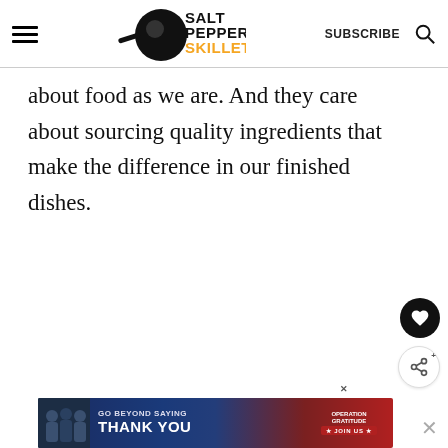Salt Pepper Skillet — SUBSCRIBE
about food as we are. And they care about sourcing quality ingredients that make the difference in our finished dishes.
[Figure (screenshot): Floating heart favorite button (black circle with white heart icon) and share button (white circle with share icon)]
[Figure (screenshot): Advertisement banner: GO BEYOND SAYING THANK YOU — Operation Gratitude JOIN US]